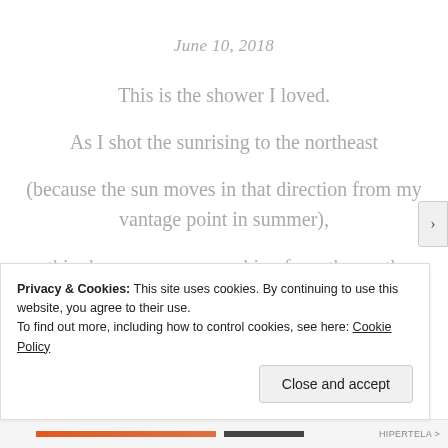June 10, 2018
This is the shower I loved.
As I shot the sunrising to the northeast
(because the sun moves in that direction from my vantage point in summer),
this shower was approaching from the south
Privacy & Cookies: This site uses cookies. By continuing to use this website, you agree to their use.
To find out more, including how to control cookies, see here: Cookie Policy
Close and accept